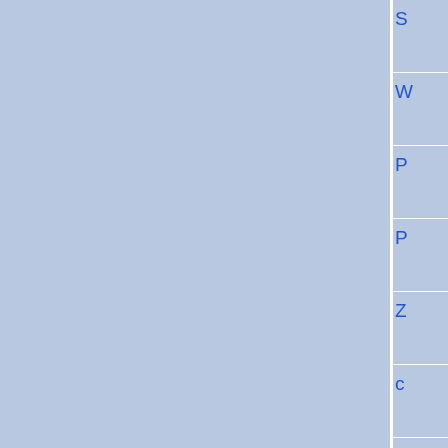| Field | Value |
| --- | --- |
|  | S... |
|  | W... |
|  | P... |
|  | P... |
|  | Z... |
|  | c... |
|  | c... |
| Predicted Effect | pr...
Tra... |
| Predicted Effect | pr...
Tra... |
| Predicted Effect | pr...
Tra... |
| Predicted Effect | pr...
Tra... |
| Coding Region Coverage | 1x... |